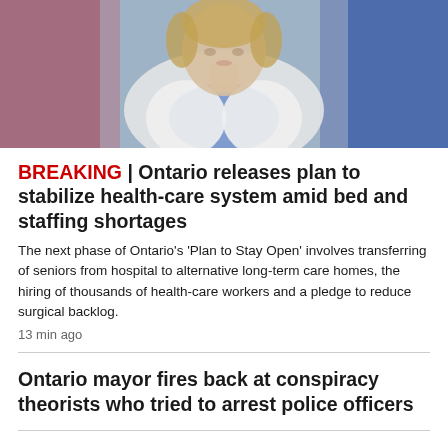[Figure (photo): Photo of a woman with short blonde hair wearing a white blazer over a blue top, photographed in front of blurred colorful background]
BREAKING | Ontario releases plan to stabilize health-care system amid bed and staffing shortages
The next phase of Ontario's 'Plan to Stay Open' involves transferring of seniors from hospital to alternative long-term care homes, the hiring of thousands of health-care workers and a pledge to reduce surgical backlog.
13 min ago
Ontario mayor fires back at conspiracy theorists who tried to arrest police officers
'Novelty' screwdriver that looks like replica handgun raising concerns